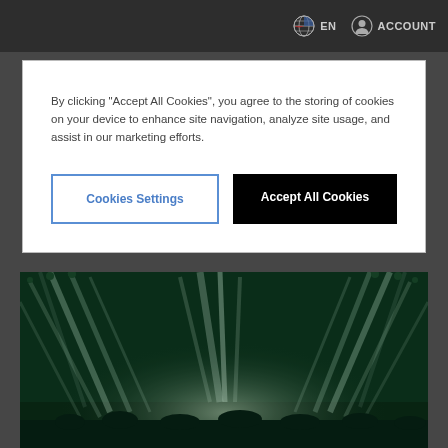EN  ACCOUNT
By clicking "Accept All Cookies", you agree to the storing of cookies on your device to enhance site navigation, analyze site usage, and assist in our marketing efforts.
Cookies Settings
Accept All Cookies
[Figure (photo): Concert stage with green spotlights and crowd, multiple beams of light radiating from stage lighting rigs over an audience.]